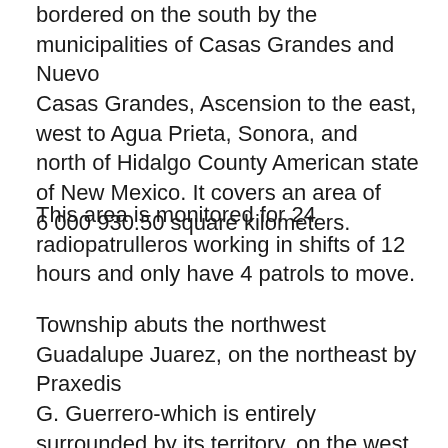bordered on the south by the municipalities of Casas Grandes and Nuevo Casas Grandes, Ascension to the east, west to Agua Prieta, Sonora, and north of Hidalgo County American state of New Mexico. It covers an area of 6 000 930.50 square kilometers.
This area is monitored for 24 radiopatrulleros working in shifts of 12 hours and only have 4 patrols to move.
Township abuts the northwest Guadalupe Juarez, on the northeast by Praxedis G. Guerrero-which is entirely surrounded by its territory, on the west by Ahumada, and south with those of the Sotol Coyame and Ojinaga, across the